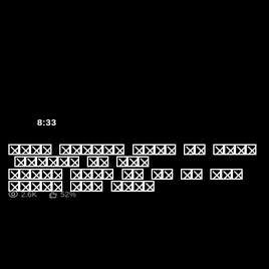8:33
[redacted title text line 1] [redacted title text line 2]
👁 2.6K  👍 52%